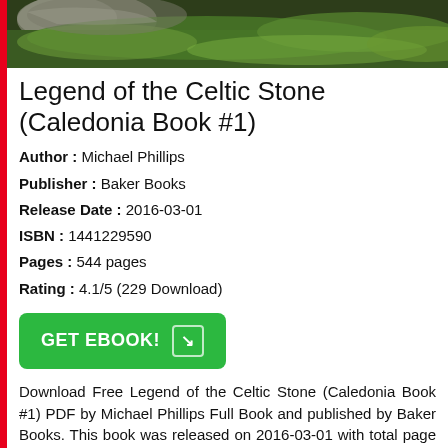[Figure (photo): Top portion of a book cover image showing green foliage/moss and a stone, partially cropped]
Legend of the Celtic Stone (Caledonia Book #1)
Author : Michael Phillips
Publisher : Baker Books
Release Date : 2016-03-01
ISBN : 1441229590
Pages : 544 pages
Rating : 4.1/5 (229 Download)
[Figure (other): Green GET EBOOK! button with arrow icon]
Download Free Legend of the Celtic Stone (Caledonia Book #1) PDF by Michael Phillips Full Book and published by Baker Books. This book was released on 2016-03-01 with total page 544 pages. Available in PDF, EPUB and Kindle. Book excerpt: When a legendary stone is stolen from Westminster